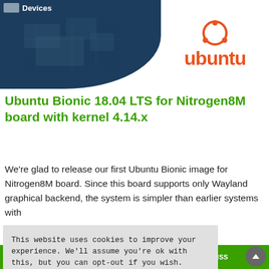[Figure (screenshot): Hero banner with dark blue background on left showing IoT device imagery and 'Devices' label, and Ubuntu logo in orange on the right on white background]
Ubuntu Bionic 18.04 LTS for Nitrogen8M board with kernel 4.14.x
We're glad to release our first Ubuntu Bionic image for Nitrogen8M board. Since this board supports only Wayland graphical backend, the system is simpler than earlier systems with
This website uses cookies to improve your experience. We'll assume you're ok with this, but you can opt-out if you wish.
ACCEPT
e website is inaccurate. Contact us for availability. DISMISS